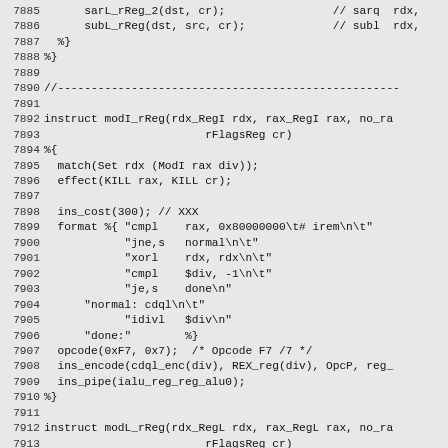[Figure (screenshot): Source code listing showing x86 assembly instruction definitions in a compiler backend (likely HotSpot JVM), lines 7885-7914, including modI_rReg and modL_rReg instruction patterns with format strings for integer division/modulo operations.]